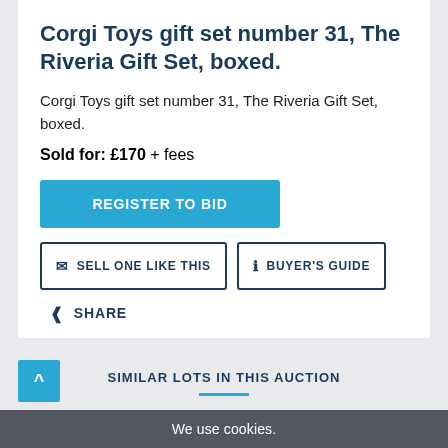Corgi Toys gift set number 31, The Riveria Gift Set, boxed.
Corgi Toys gift set number 31, The Riveria Gift Set, boxed.
Sold for: £170 + fees
REGISTER TO BID
SELL ONE LIKE THIS
BUYER'S GUIDE
SHARE
SIMILAR LOTS IN THIS AUCTION
We use cookies.